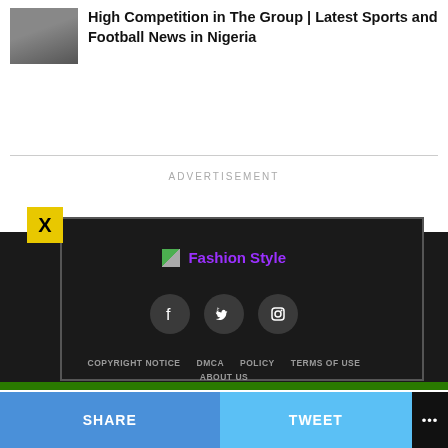High Competition in The Group | Latest Sports and Football News in Nigeria
ADVERTISEMENT
[Figure (screenshot): Fashion Style logo/link with small image thumbnail and purple text]
[Figure (illustration): Social media icons: Facebook, Twitter, Instagram on dark circular backgrounds]
COPYRIGHT NOTICE   DMCA   POLICY   TERMS OF USE   ABOUT US
SHARE   TWEET   ...